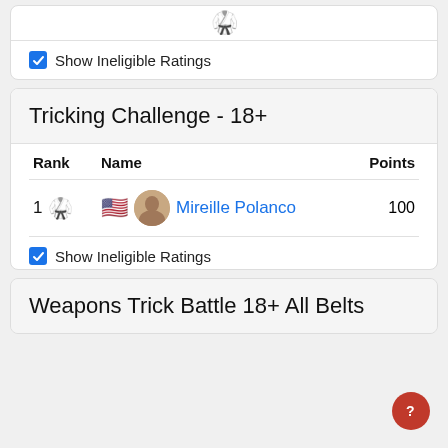[Figure (screenshot): Top partial card with a tricking icon and a divider, followed by Show Ineligible Ratings checkbox]
☑ Show Ineligible Ratings
Tricking Challenge - 18+
| Rank | Name | Points |
| --- | --- | --- |
| 1 [tricking icon] [US flag] [avatar] | Mireille Polanco | 100 |
☑ Show Ineligible Ratings
Weapons Trick Battle 18+ All Belts